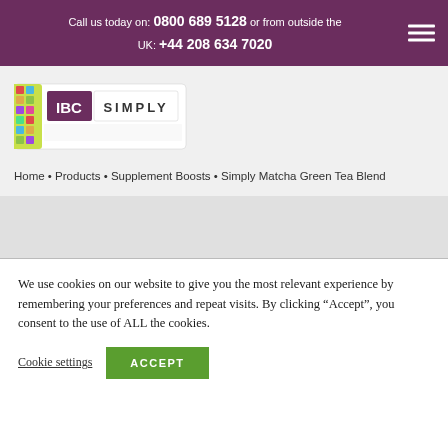Call us today on: 0800 689 5128 or from outside the UK: +44 208 634 7020
[Figure (logo): IBC Simply logo with colorful tag and tea/supplement imagery]
Home • Products • Supplement Boosts • Simply Matcha Green Tea Blend
We use cookies on our website to give you the most relevant experience by remembering your preferences and repeat visits. By clicking "Accept", you consent to the use of ALL the cookies.
Cookie settings
ACCEPT